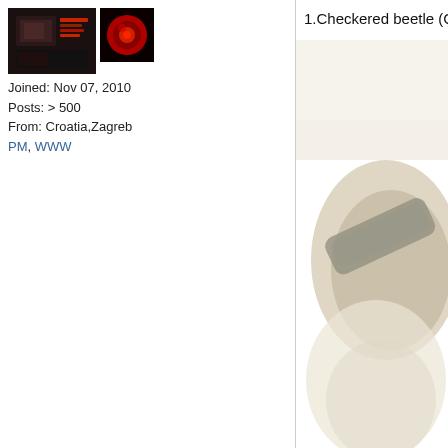[Figure (photo): User avatar thumbnails: dark reddish camera/photo thumbnail and a red circular element thumbnail]
Joined: Nov 07, 2010
Posts: > 500
From: Croatia,Zagreb
PM, WWW
1.Checkered beetle (Chec
[Figure (photo): Blurred close-up photo of a checkered beetle on a surface, colors beige/tan/grey]